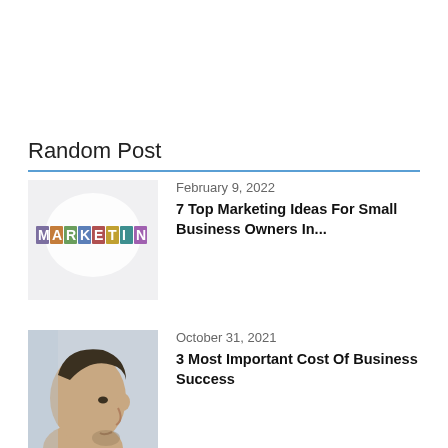Random Post
[Figure (photo): Marketing themed image with letters spelling MARKETING on a white background, partially cropped showing 'HARKETIN']
February 9, 2022
7 Top Marketing Ideas For Small Business Owners In...
[Figure (photo): Close-up side profile photo of a young man with facial hair, looking left, against a light background]
October 31, 2021
3 Most Important Cost Of Business Success